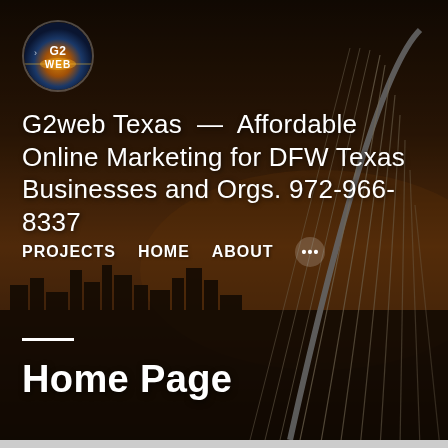[Figure (photo): Dark night cityscape background showing a cable-stayed arch bridge (Margaret Hunt Hill Bridge, Dallas) with city skyline silhouette against an orange-tinted evening sky]
[Figure (logo): G2WEB circular logo with orange/blue background and white text reading G2WEB]
G2web Texas — Affordable Online Marketing for DFW Texas Businesses and Orgs. 972-966-8337
PROJECTS   HOME   ABOUT   •••
—
Home Page